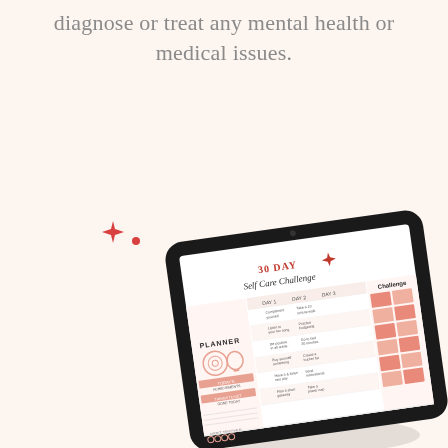diagnose or treat any mental health or medical issues.
[Figure (photo): A tablet device displaying a '30 Day Self Care Challenge' planner page, shown at a slight angle. The tablet has a black frame. The screen shows a colorful planner with pink and red accents. Decorative red sparkle star and dot motifs are visible to the left of the tablet on the light peach/pink background.]